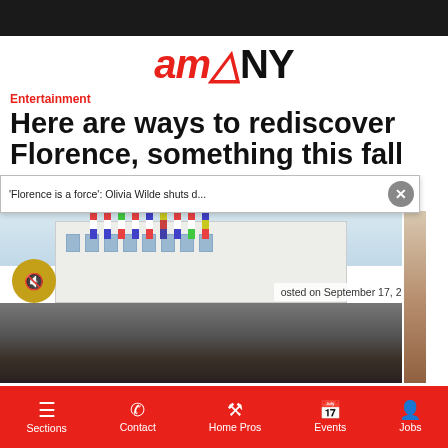[Figure (logo): amNY logo with 'am' in red italic bold and 'NY' in black bold]
Entertainment
Here are ways to rediscover Florence, something this fall
[Figure (screenshot): Video popup overlay showing 'Florence is a force': Olivia Wilde shuts d... with a close button, over a crowd scene at what appears to be a film festival venue with flags, a mute button visible, dated September 17, 2021]
Sections | Contact | Home Pros | Events | Jobs